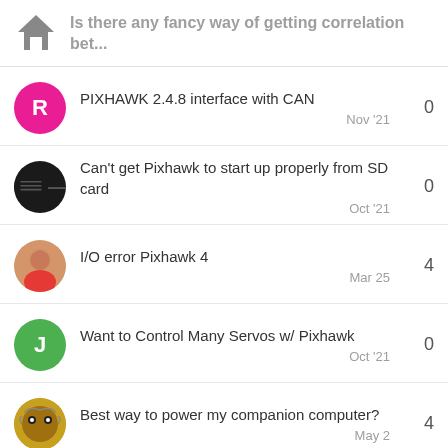Is there any fancy way of getting correlation bet...
PIXHAWK 2.4.8 interface with CAN
Can't get Pixhawk to start up properly from SD card
I/O error Pixhawk 4
Want to Control Many Servos w/ Pixhawk
Best way to power my companion computer?
Want to read more? Browse all categories or view